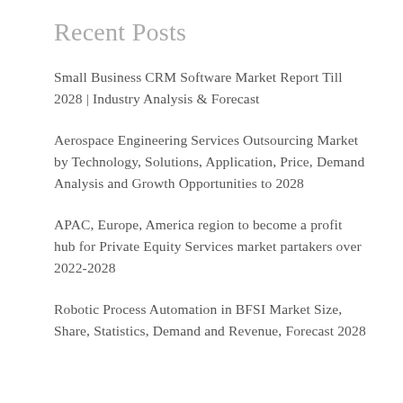Recent Posts
Small Business CRM Software Market Report Till 2028 | Industry Analysis & Forecast
Aerospace Engineering Services Outsourcing Market by Technology, Solutions, Application, Price, Demand Analysis and Growth Opportunities to 2028
APAC, Europe, America region to become a profit hub for Private Equity Services market partakers over 2022-2028
Robotic Process Automation in BFSI Market Size, Share, Statistics, Demand and Revenue, Forecast 2028